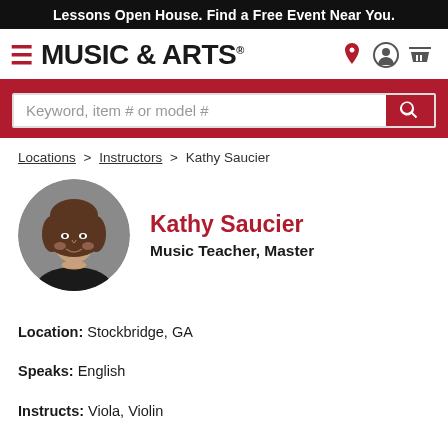Lessons Open House. Find a Free Event Near You.
[Figure (logo): Music & Arts logo with hamburger menu icon]
Keyword, item # or model #
Locations > Instructors > Kathy Saucier
[Figure (photo): Circular profile photo of Kathy Saucier, a woman with brown hair smiling]
Kathy Saucier
Music Teacher, Master
Location: Stockbridge, GA
Speaks: English
Instructs: Viola, Violin
Education:
Bachelor Music Education Loyola University New Orleans